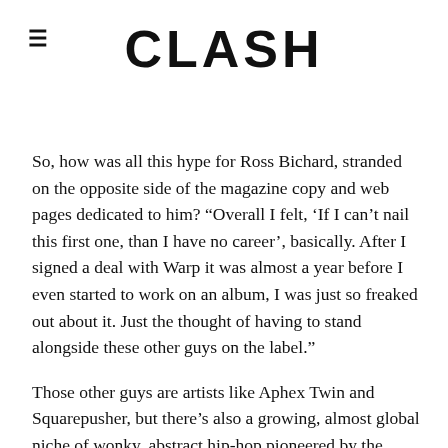CLASH
So, how was all this hype for Ross Bichard, stranded on the opposite side of the magazine copy and web pages dedicated to him? “Overall I felt, ‘If I can’t nail this first one, than I have no career’, basically. After I signed a deal with Warp it was almost a year before I even started to work on an album, I was just so freaked out about it. Just the thought of having to stand alongside these other guys on the label.”
Those other guys are artists like Aphex Twin and Squarepusher, but there’s also a growing, almost global niche of wonky, abstract hip-hop pioneered by the likes of Prefuse 73 and Dabrye yet galvanised over the last few years by a roll call of disparate producers such as Flying Lotus from LA, Fulgeance from France, Bullion and Paul